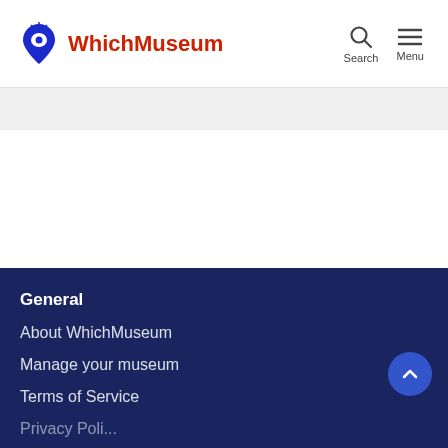WhichMuseum
General
About WhichMuseum
Manage your museum
Terms of Service
Privacy Policy